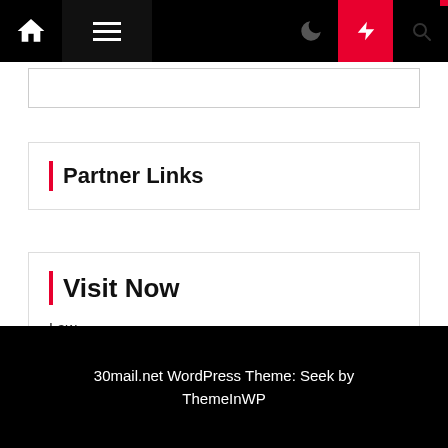Navigation bar with home, menu, moon, bolt, search icons
Partner Links
Visit Now
Law
30mail.net WordPress Theme: Seek by ThemeInWP